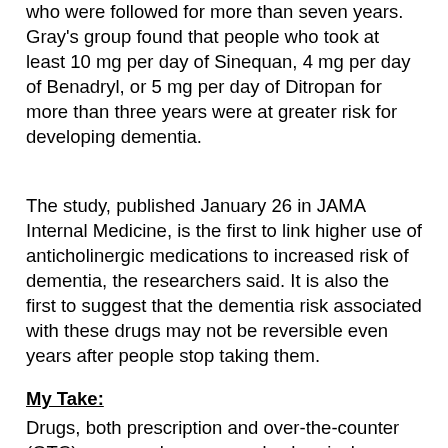who were followed for more than seven years. Gray's group found that people who took at least 10 mg per day of Sinequan, 4 mg per day of Benadryl, or 5 mg per day of Ditropan for more than three years were at greater risk for developing dementia.
The study, published January 26 in JAMA Internal Medicine, is the first to link higher use of anticholinergic medications to increased risk of dementia, the researchers said. It is also the first to suggest that the dementia risk associated with these drugs may not be reversible even years after people stop taking them.
My Take:
Drugs, both prescription and over-the-counter (OTC) are complex man-made chemical compounds. For most of them, the mechanism of action is unknown or poorly understood. The list of side effects and drug interactions is exhausting.
As noted above, anticholinergics block the formation of